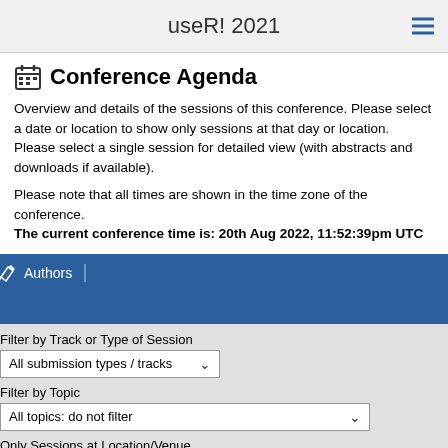useR! 2021
Conference Agenda
Overview and details of the sessions of this conference. Please select a date or location to show only sessions at that day or location. Please select a single session for detailed view (with abstracts and downloads if available).
Please note that all times are shown in the time zone of the conference. The current conference time is: 20th Aug 2022, 11:52:39pm UTC
Authors
Filter by Track or Type of Session
All submission types / tracks
Filter by Topic
All topics: do not filter
Only Sessions at Location/Venue
Sessions at any Location/Venue
Session Overview
Date: Sunday, 04/Jul/2021